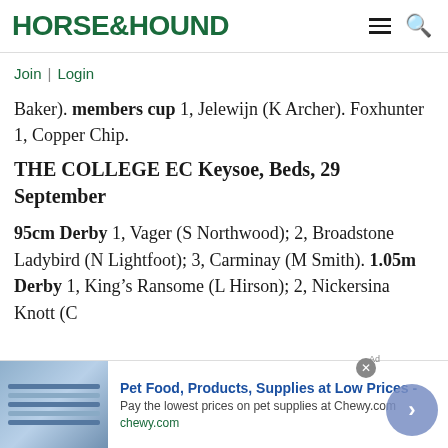HORSE&HOUND
Join | Login
Baker). members cup 1, Jelewijn (K Archer). Foxhunter 1, Copper Chip.
THE COLLEGE EC Keysoe, Beds, 29 September
95cm Derby 1, Vager (S Northwood); 2, Broadstone Ladybird (N Lightfoot); 3, Carminay (M Smith). 1.05m Derby 1, King's Ransome (L Hirson); 2, Nickersina Knott (C
[Figure (infographic): Advertisement banner for Chewy.com - Pet Food, Products, Supplies at Low Prices. Shows pet product image on left, ad text in center, navigation arrow button on right.]